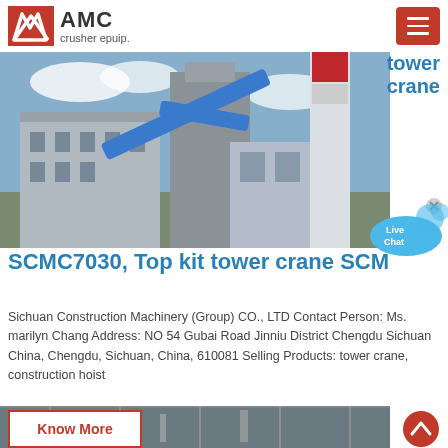AMC crusher epuip.
tower crane
[Figure (photo): Industrial construction site with tower crane, large grey industrial buildings, blue structural arms, white cylindrical towers, photographed 2012-06-30 19:03]
[Figure (illustration): Live Chat bubble icon with speech bubble graphic and close button]
SCMC7030, Top kit tower crane SCM
Sichuan Construction Machinery (Group) CO., LTD Contact Person: Ms. marilyn Chang Address: NO 54 Gubai Road Jinniu District Chengdu Sichuan China, Chengdu, Sichuan, China, 610081 Selling Products: tower crane, construction hoist
Know More
[Figure (photo): Partial view of industrial equipment or crane structure, bottom of page]